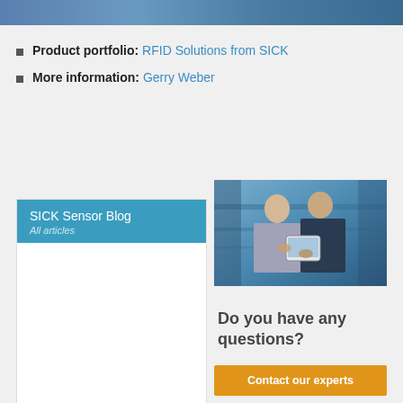[Figure (photo): Top banner image showing industrial scene in blue tones]
Product portfolio: RFID Solutions from SICK
More information: Gerry Weber
[Figure (screenshot): SICK Sensor Blog panel with blue header and 'All articles' sublink]
[Figure (photo): Two men in industrial setting looking at a tablet device]
Do you have any questions?
Contact our experts